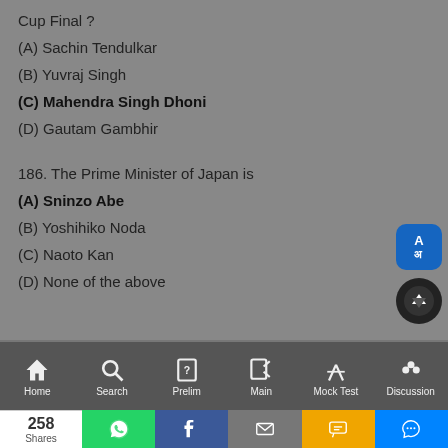Cup Final ?
(A) Sachin Tendulkar
(B) Yuvraj Singh
(C) Mahendra Singh Dhoni
(D) Gautam Gambhir
186.  The Prime Minister of Japan is
(A) Sninzo Abe
(B) Yoshihiko Noda
(C) Naoto Kan
(D) None of the above
Home | Search | Prelim | Main | Mock Test | Discussion
258 Shares